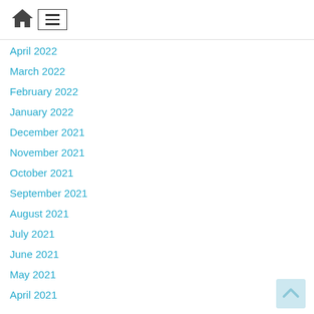Home / Menu navigation header
April 2022
March 2022
February 2022
January 2022
December 2021
November 2021
October 2021
September 2021
August 2021
July 2021
June 2021
May 2021
April 2021